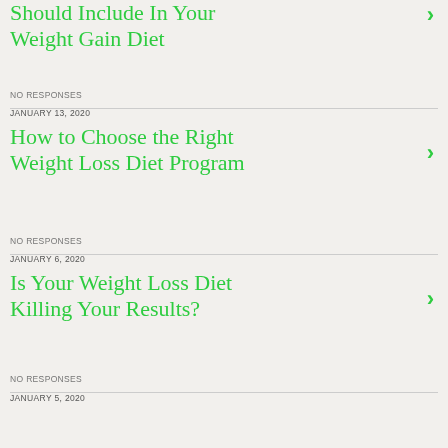Should Include In Your Weight Gain Diet
NO RESPONSES
JANUARY 13, 2020
How to Choose the Right Weight Loss Diet Program
NO RESPONSES
JANUARY 6, 2020
Is Your Weight Loss Diet Killing Your Results?
NO RESPONSES
JANUARY 5, 2020